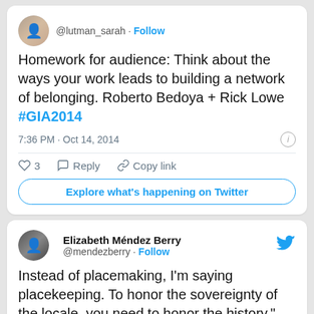[Figure (screenshot): Tweet from @lutman_sarah with text: Homework for audience: Think about the ways your work leads to building a network of belonging. Roberto Bedoya + Rick Lowe #GIA2014. Timestamp: 7:36 PM · Oct 14, 2014. Actions: 3 likes, Reply, Copy link. Button: Explore what's happening on Twitter.]
[Figure (screenshot): Tweet from Elizabeth Méndez Berry (@mendezberry) with text: Instead of placemaking, I'm saying placekeeping. To honor the sovereignty of the locale, you need to honor the history," Bedova #GIA2014]